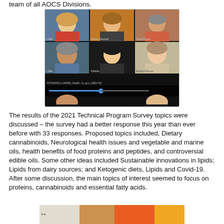team of all AOCS Divisions.
[Figure (photo): Screenshot of a Zoom video call with 6 participants visible in a grid layout. A video timeline/progress bar is visible at the bottom of the screen. Filename text: MT20200611-184856_Health---N_gvo_1280x720]
The results of the 2021 Technical Program Survey topics were discussed – the survey had a better response this year than ever before with 33 responses. Proposed topics included, Dietary cannabinoids, Neurological health issues and vegetable and marine oils, health benefits of food proteins and peptides, and controversial edible oils. Some other ideas included Sustainable innovations in lipids; Lipids from dairy sources; and Ketogenic diets, Lipids and Covid-19. After some discussion, the main topics of interest seemed to focus on proteins, cannabinoids and essential fatty acids.
[Figure (photo): Partial view of another image at the bottom of the page, showing food-related content with warm orange/brown tones.]